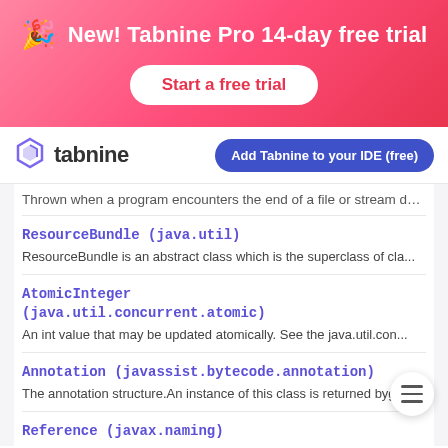[Figure (infographic): Pink/red gradient promotional banner with party popper emoji, text 'New! Tabnine Pro 14-day free trial', and a white rounded button 'Start a free trial']
[Figure (logo): Tabnine logo with hexagonal icon and 'tabnine' wordmark, alongside a blue 'Add Tabnine to your IDE (free)' button]
Thrown when a program encounters the end of a file or stream dur...
ResourceBundle (java.util)
ResourceBundle is an abstract class which is the superclass of cla...
AtomicInteger (java.util.concurrent.atomic)
An int value that may be updated atomically. See the java.util.con...
Annotation (javassist.bytecode.annotation)
The annotation structure.An instance of this class is returned byge...
Reference (javax.naming)